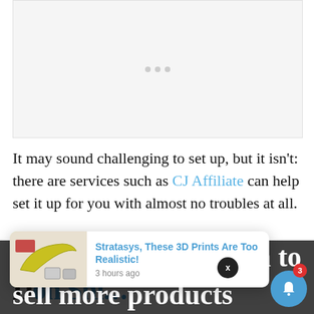[Figure (other): Advertisement placeholder with three gray dots in the center]
It may sound challenging to set up, but it isn't: there are services such as CJ Affiliate can help set it up for you with almost no troubles at all.
Don Shi...i...i...
[Figure (other): Popup notification card showing an image of a banana and 3D printed objects with title 'Stratasys, These 3D Prints Are Too Realistic!' and timestamp '3 hours ago']
sell more products